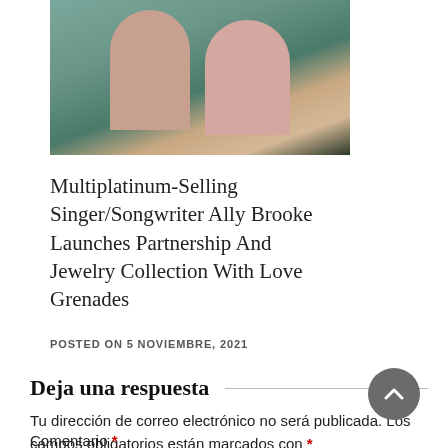[Figure (photo): Photo of two women, one with curly blonde/red hair wearing a dark top with a necklace, outdoors with greenery in the background]
Multiplatinum-Selling Singer/Songwriter Ally Brooke Launches Partnership And Jewelry Collection With Love Grenades
POSTED ON 5 NOVIEMBRE, 2021
Deja una respuesta
Tu dirección de correo electrónico no será publicada. Los campos obligatorios están marcados con *
Comentario *